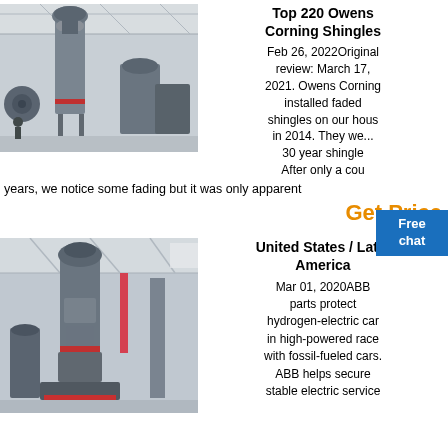[Figure (photo): Industrial machinery in a large factory/warehouse — tall gray mill or grinder equipment, large fan units, steel structure ceiling]
Top 220 Owens Corning Shingles
Feb 26, 2022Original review: March 17, 2021. Owens Corning installed faded shingles on our house in 2014. They we... 30 year shingle... After only a cou...
years, we notice some fading but it was only apparent
Get Price
[Figure (photo): Industrial vertical mill/grinder machine in a factory, tall gray cylindrical structure with large base, high ceiling warehouse]
United States / Latin America
Mar 01, 2020ABB parts protect hydrogen-electric car in high-powered race with fossil-fueled cars. ABB helps secure stable electric service